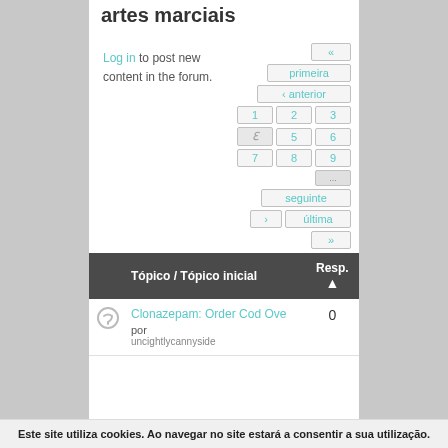artes marciais
Log in to post new content in the forum.
| Tópico / Tópico inicial | Resp. ▲ |
| --- | --- |
| Clonazepam: Order Cod Ove
por
uncightlycannyside | 0 |
Este site utiliza cookies. Ao navegar no site estará a consentir a sua utilização.